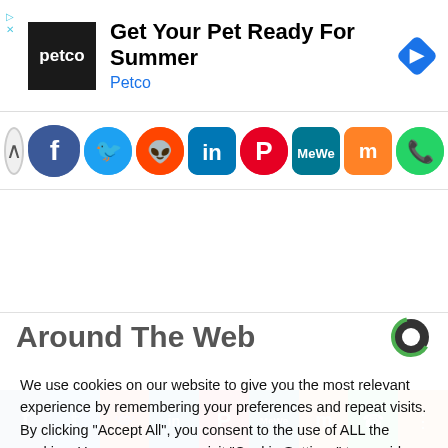[Figure (screenshot): Petco advertisement banner: dark square logo with 'petco' text, headline 'Get Your Pet Ready For Summer', subtext 'Petco' in blue, diamond navigation icon top right]
[Figure (infographic): Social media share icon row: chevron-up, Facebook, Twitter, Reddit, LinkedIn, Pinterest, MeWe, Mix, WhatsApp, Share circles]
Around The Web
We use cookies on our website to give you the most relevant experience by remembering your preferences and repeat visits. By clicking "Accept All", you consent to the use of ALL the cookies. However, you may visit "Cookie Settings" to provide a controlled consent.
Cookie Settings
Accept All
[Figure (infographic): Bottom social share bar with icons: Facebook (blue), Twitter (light blue), Reddit (orange-red), LinkedIn (teal), Pinterest (red), MeWe (dark teal), Mix (orange), WhatsApp (green), Share (dark orange)]